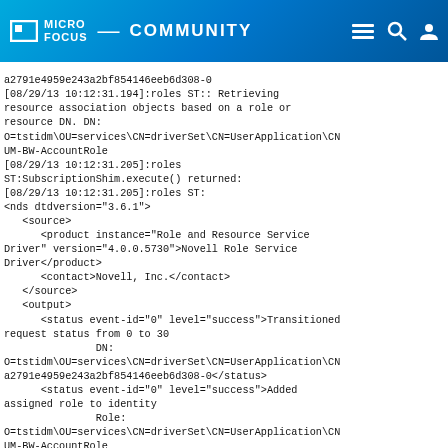MICRO FOCUS COMMUNITY
a2791e4959e243a2bf854146eeb6d308-0
[08/29/13 10:12:31.194]:roles ST:: Retrieving resource association objects based on a role or resource DN. DN: O=tstidm\OU=services\CN=driverSet\CN=UserApplication\CN UM-BW-AccountRole
[08/29/13 10:12:31.205]:roles ST:SubscriptionShim.execute() returned:
[08/29/13 10:12:31.205]:roles ST:
<nds dtdversion="3.6.1">
   <source>
      <product instance="Role and Resource Service Driver" version="4.0.0.5730">Novell Role Service Driver</product>
      <contact>Novell, Inc.</contact>
   </source>
   <output>
      <status event-id="0" level="success">Transitioned request status from 0 to 30
               DN:
O=tstidm\OU=services\CN=driverSet\CN=UserApplication\CN a2791e4959e243a2bf854146eeb6d308-0</status>
      <status event-id="0" level="success">Added assigned role to identity
               Role:
O=tstidm\OU=services\CN=driverSet\CN=UserApplication\CN UM-BW-AccountRole
               Identity:
O=tstidm\OU=Users\OU=Empl\CN=jsmith</status>
      <status event-id="0" level="success">Transitioned request status from 30 to 50
               DN:
O=tstidm\OU=services\CN=driverSet\CN=UserApplication\CN a2791e4959e243a2bf854146eeb6d308-0</status>
   </output>
</nds>
[08/29/13 10:12:31.209]:roles ST:No input transformation policies